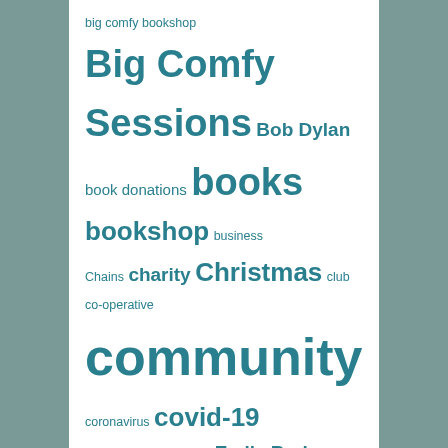[Figure (infographic): A tag cloud with terms related to a bookshop community. Terms appear in varying font sizes and weights in teal/dark cyan color, indicating relative frequency or importance. Terms include: big comfy bookshop, Big Comfy Sessions, Bob Dylan, book donations, books, bookshop, business, Chains, charity, Christmas, club, co-operative, community, coronavirus, covid-19, creativity, Daria Kulesh, Emily Barker, engagement, events, Fargo Village, film club, films, finance, German art, here comes everyone, Josh Doyle, Kenilworth, literature, live music, local, lockdown, Michael Burdett, music, music matters, NaNoWriMo, National Gallery, Nick Cave, nick drake, non-profit, novels, open mic, paper&pen, premises, Radio Abbey, reopening, Romany Pie, second-hand books, secondhand, secondhand books.]